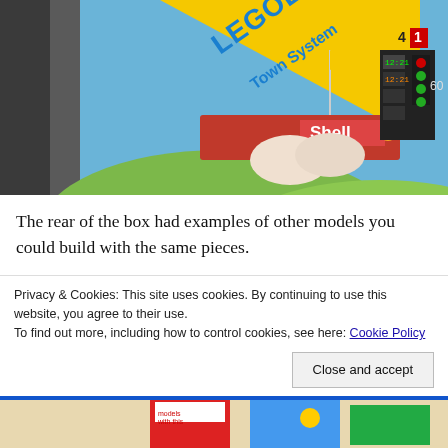[Figure (photo): Photo of a LEGO Town System box front showing a Shell gas station set with red LEGO bricks, a scoreboard, flag, and illustrated landscape background. Yellow diagonal banner reads 'LEGOLAND Town System'.]
The rear of the box had examples of other models you could build with the same pieces.
[Figure (photo): Partially visible photo at bottom of another LEGO set box showing colorful minifigures and LEGO models.]
Privacy & Cookies: This site uses cookies. By continuing to use this website, you agree to their use.
To find out more, including how to control cookies, see here: Cookie Policy
Close and accept